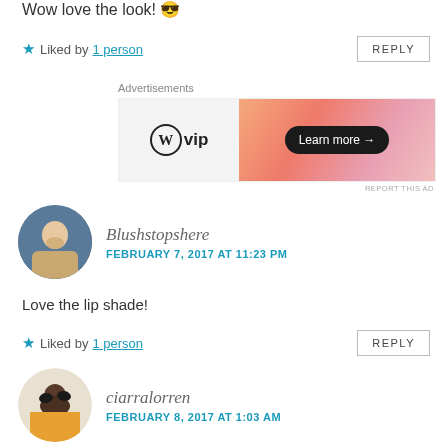Wow love the look! 😊
★ Liked by 1 person
REPLY
[Figure (screenshot): WordPress VIP advertisement banner with gradient orange-pink background and 'Learn more →' button]
REPORT THIS AD
Blushstopshere
FEBRUARY 7, 2017 AT 11:23 PM
Love the lip shade!
★ Liked by 1 person
REPLY
ciarralorren
FEBRUARY 8, 2017 AT 1:03 AM